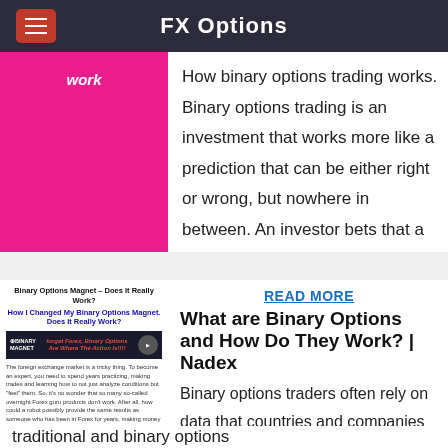FX Options
[Figure (illustration): Pink block with text 'work' in white italic]
How binary options trading works. Binary options trading is an investment that works more like a prediction that can be either right or wrong, but nowhere in between. An investor bets that a given
[Figure (screenshot): Screenshot of 'Binary Options Magnet – Does It Really Work?' article with ad banner and body text about foreign exchange market and Binary Options Magnet product]
READ MORE
What are Binary Options and How Do They Work? | Nadex
Binary options traders often rely on data that countries and companies publish regarding different aspects that greatly affect the market. News trading is a fundamental binary options analysis method that has found popularity among
traditional and binary options